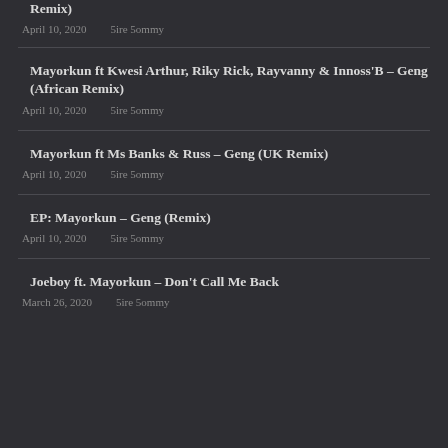Remix)
April 10, 2020   5ire 5ommy
Mayorkun ft Kwesi Arthur, Riky Rick, Rayvanny & Innoss'B – Geng (African Remix)
April 10, 2020   5ire 5ommy
Mayorkun ft Ms Banks & Russ – Geng (UK Remix)
April 10, 2020   5ire 5ommy
EP: Mayorkun – Geng (Remix)
April 10, 2020   5ire 5ommy
Joeboy ft. Mayorkun – Don't Call Me Back
March 26, 2020   5ire 5ommy